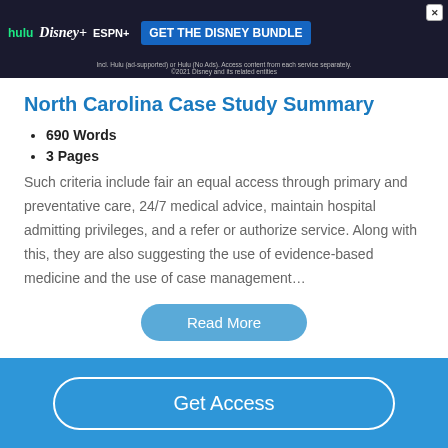[Figure (screenshot): Disney Bundle advertisement banner with Hulu, Disney+, ESPN+ logos and 'GET THE DISNEY BUNDLE' call-to-action button]
North Carolina Case Study Summary
690 Words
3 Pages
Such criteria include fair an equal access through primary and preventative care, 24/7 medical advice, maintain hospital admitting privileges, and a refer or authorize service. Along with this, they are also suggesting the use of evidence-based medicine and the use of case management…
Read More
Get Access